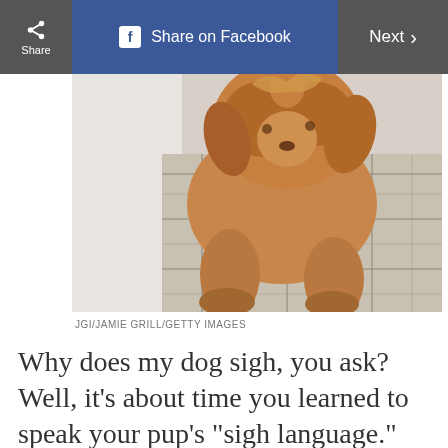Share | Share on Facebook | Next >
[Figure (photo): A fluffy golden/red doodle dog sitting on a couch with a plaid blanket, viewed from above at an angle]
JGI/JAMIE GRILL/GETTY IMAGES
Why does my dog sigh, you ask? Well, it's about time you learned to speak your pup's "sigh language."